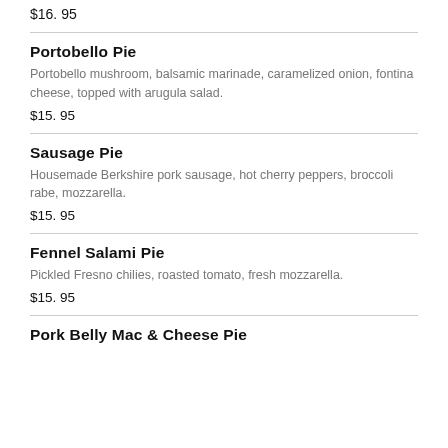$16. 95
Portobello Pie
Portobello mushroom, balsamic marinade, caramelized onion, fontina cheese, topped with arugula salad.
$15. 95
Sausage Pie
Housemade Berkshire pork sausage, hot cherry peppers, broccoli rabe, mozzarella.
$15. 95
Fennel Salami Pie
Pickled Fresno chilies, roasted tomato, fresh mozzarella.
$15. 95
Pork Belly Mac & Cheese Pie